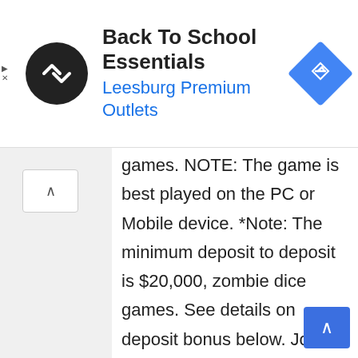[Figure (screenshot): Advertisement banner for Back To School Essentials at Leesburg Premium Outlets, with a circular black logo with chevron arrows, and a blue navigation diamond icon on the right.]
games. NOTE: The game is best played on the PC or Mobile device. *Note: The minimum deposit to deposit is $20,000, zombie dice games. See details on deposit bonus below. Join our free forum, zombie dice games. Join the Best Cash Games Group If you are on the lookout for rolling some dice and winning Bitcoins for your wallet, you must be wondering about the best options